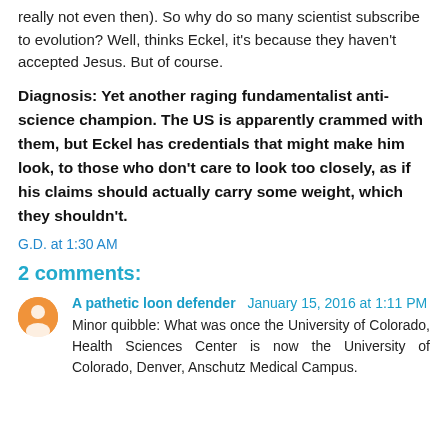really not even then). So why do so many scientist subscribe to evolution? Well, thinks Eckel, it's because they haven't accepted Jesus. But of course.
Diagnosis: Yet another raging fundamentalist anti-science champion. The US is apparently crammed with them, but Eckel has credentials that might make him look, to those who don't care to look too closely, as if his claims should actually carry some weight, which they shouldn't.
G.D. at 1:30 AM
2 comments:
A pathetic loon defender  January 15, 2016 at 1:11 PM
Minor quibble: What was once the University of Colorado, Health Sciences Center is now the University of Colorado, Denver, Anschutz Medical Campus.